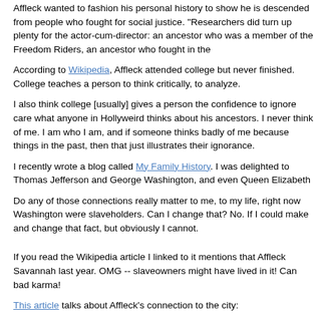Affleck wanted to fashion his personal history to show he is descended from people who fought for social justice. "Researchers did turn up plenty for the actor-cum-director: an ancestor who was a member of the Freedom Riders, an ancestor who fought in th...
According to Wikipedia, Affleck attended college but never finished. College teaches a person to think critically, to analyze.
I also think college [usually] gives a person the confidence to ignore what others think. I don't care what anyone in Hollyweird thinks about his ancestors. I never cared what anyone thought of me. I am who I am, and if someone thinks badly of me because of things my ancestors did, things in the past, then that just illustrates their ignorance.
I recently wrote a blog called My Family History. I was delighted to find connections to Thomas Jefferson and George Washington, and even Queen Elizab...
Do any of those connections really matter to me, to my life, right n... Washington were slaveholders. Can I change that? No. If I could m... and change that fact, but obviously I cannot.
If you read the Wikipedia article I linked to it mentions that Afflec... Savannah last year. OMG -- slaveowners might have lived in it! Ca... bad karma!
This article talks about Affleck's connection to the city:
"Affleck and his wife, Jennifer Garner, often vacation at their home... forty-five minutes south of Savannah. Affleck bought the home nea...